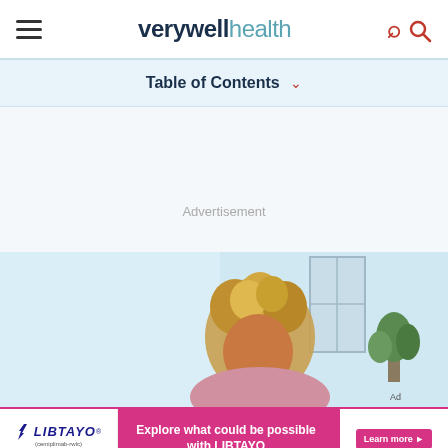verywell health
Table of Contents
Advertisement
[Figure (photo): Woman with curly blonde hair looking down, seated in a bright room with window and plant in background]
[Figure (infographic): LIBTAYO (cemiplimab-rwlc) advertisement banner: Explore what could be possible with LIBTAYO. Learn more. © 2021 Regeneron Pharmaceuticals, Inc., and sanofi-aventis U.S. LLC. LIB.21.06.0096 07/21]